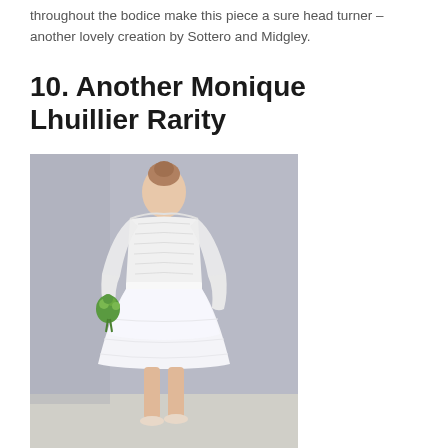throughout the bodice make this piece a sure head turner – another lovely creation by Sottero and Midgley.
10. Another Monique Lhuillier Rarity
[Figure (photo): A model wearing a white short wedding dress with long lace sleeves, off-the-shoulder neckline, tulle skirt, holding a small green bouquet, standing in front of a grey background.]